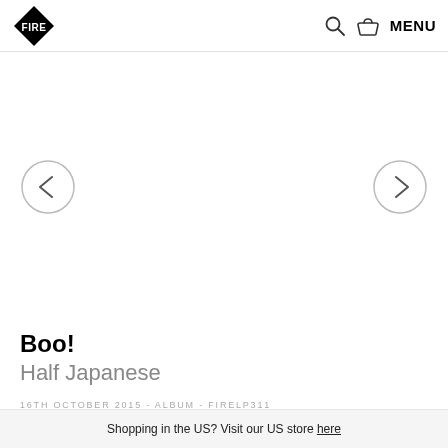[Figure (logo): FIRE Records diamond-shaped logo in black with white text]
[Figure (infographic): Navigation header icons: search (magnifying glass), basket/cart icon, and MENU text]
[Figure (infographic): Carousel image area (blank/white) with left and right navigation arrow buttons in circles]
Boo!
Half Japanese
16TH OCTOBER 2015 - ALBUM - FIRELP311
Shopping in the US? Visit our US store here